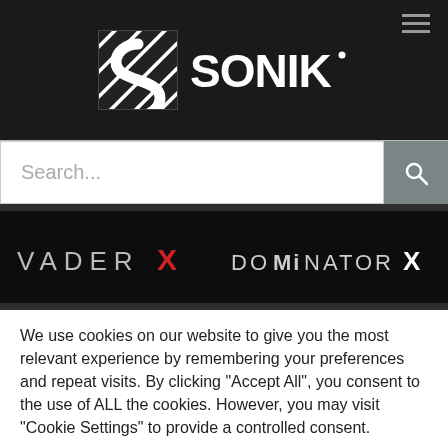[Figure (logo): Sonik brand logo with diagonal striped square icon and SONIK text in white on dark background]
[Figure (screenshot): Search bar with placeholder text 'Search...' and a magnifying glass button]
[Figure (screenshot): Dark banner showing VADER X and DOMINATOR X product names]
We use cookies on our website to give you the most relevant experience by remembering your preferences and repeat visits. By clicking "Accept All", you consent to the use of ALL the cookies. However, you may visit "Cookie Settings" to provide a controlled consent.
Cookie Settings
Accept All
Translate »